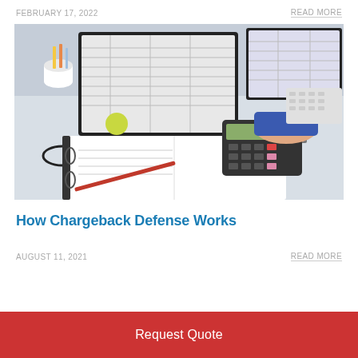FEBRUARY 17, 2022
READ MORE
[Figure (photo): Person at a desk using a calculator and writing in a binder, with two computer monitors showing spreadsheets in the background.]
How Chargeback Defense Works
AUGUST 11, 2021
READ MORE
Request Quote